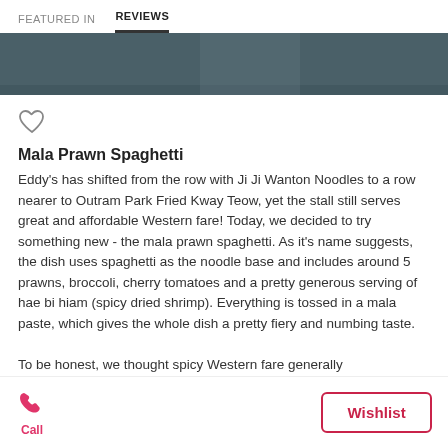FEATURED IN   REVIEWS
[Figure (photo): Dark teal/grey hero image strip, partially visible restaurant or food photo]
Mala Prawn Spaghetti
Eddy's has shifted from the row with Ji Ji Wanton Noodles to a row nearer to Outram Park Fried Kway Teow, yet the stall still serves great and affordable Western fare! Today, we decided to try something new - the mala prawn spaghetti. As it's name suggests, the dish uses spaghetti as the noodle base and includes around 5 prawns, broccoli, cherry tomatoes and a pretty generous serving of hae bi hiam (spicy dried shrimp). Everything is tossed in a mala paste, which gives the whole dish a pretty fiery and numbing taste.
To be honest, we thought spicy Western fare generally
Call   Wishlist